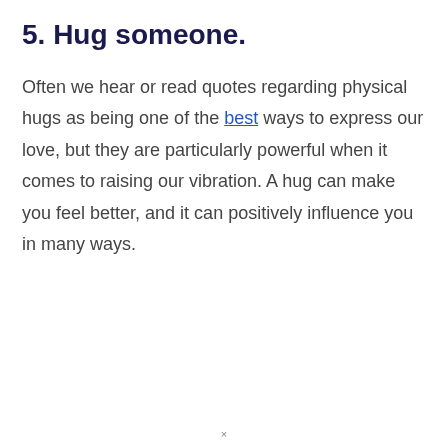5. Hug someone.
Often we hear or read quotes regarding physical hugs as being one of the best ways to express our love, but they are particularly powerful when it comes to raising our vibration. A hug can make you feel better, and it can positively influence you in many ways.